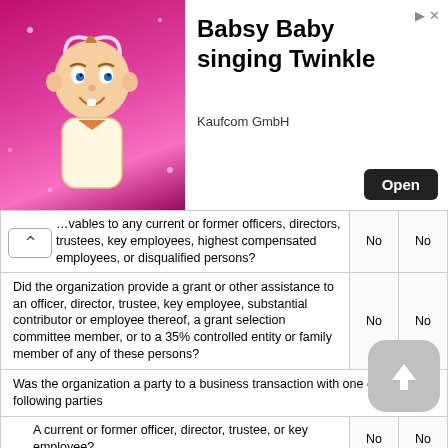[Figure (illustration): Advertisement banner: Babsy Baby cartoon character (baby with halo on pink sparkly background), title 'Babsy Baby singing Twinkle', company 'Kaufcom GmbH', Open button]
| Question | Col1 | Col2 |
| --- | --- | --- |
| ...vables to any current or former officers, directors, trustees, key employees, highest compensated employees, or disqualified persons? | No | No |
| Did the organization provide a grant or other assistance to an officer, director, trustee, key employee, substantial contributor or employee thereof, a grant selection committee member, or to a 35% controlled entity or family member of any of these persons? | No | No |
| Was the organization a party to a business transaction with one of the following parties |  |  |
| A current or former officer, director, trustee, or key employee? | No | No |
| A family member of a current or former officer, director, trustee, or key employee? | No | No |
| An entity of which a current or former officer, director, trustee, or key employee (or a family member thereof) was an officer, director, trustee, or direct or indirect owner? | No | No |
| Did the organization receive more than $25,000 in non-cash contributions? | No | No |